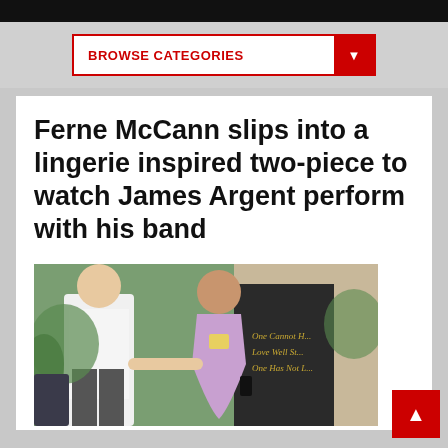BROWSE CATEGORIES
Ferne McCann slips into a lingerie inspired two-piece to watch James Argent perform with his band
[Figure (photo): A man in a white shirt and a woman in a lavender two-piece lingerie-inspired outfit walking together outdoors near a building with gold lettering]